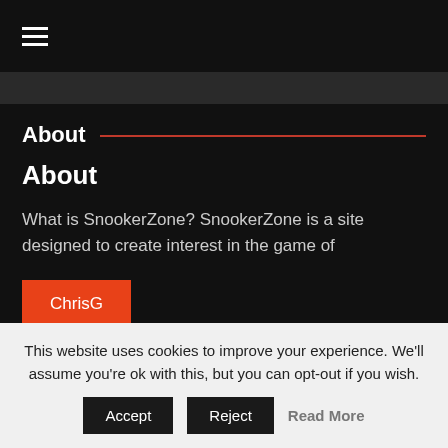≡ (hamburger menu)
About
About
What is SnookerZone? SnookerZone is a site designed to create interest in the game of
ChrisG
This website uses cookies to improve your experience. We'll assume you're ok with this, but you can opt-out if you wish.
Accept  Reject  Read More